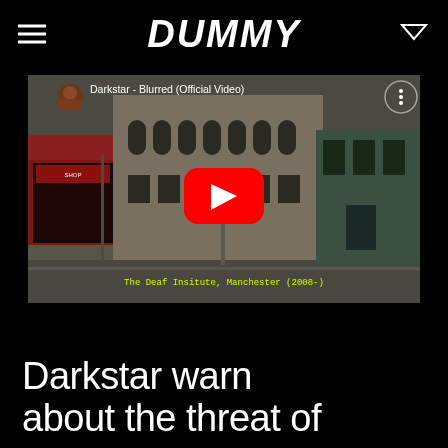DUMMY
[Figure (screenshot): YouTube video thumbnail for 'Darkstar - Blurred (Official Video)' showing a street scene of The Deaf Institute, Manchester (2008-) with a red YouTube play button in the center]
Darkstar warn about the threat of